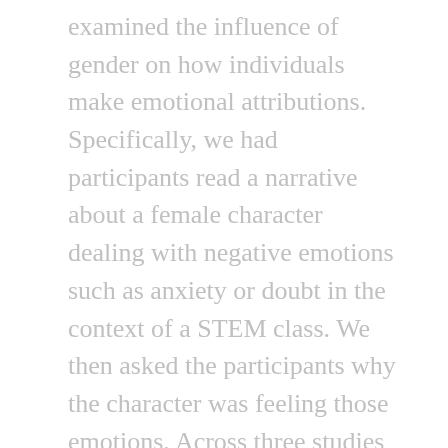examined the influence of gender on how individuals make emotional attributions. Specifically, we had participants read a narrative about a female character dealing with negative emotions such as anxiety or doubt in the context of a STEM class. We then asked the participants why the character was feeling those emotions. Across three studies as well as an internal meta-analysis that examined the pattern across the studies, we found that men and women sometimes differ in the way they make attributions in this context. The male participants were more likely than the female participants to think that our female character felt anxiety and doubt in her STEM class because she was not